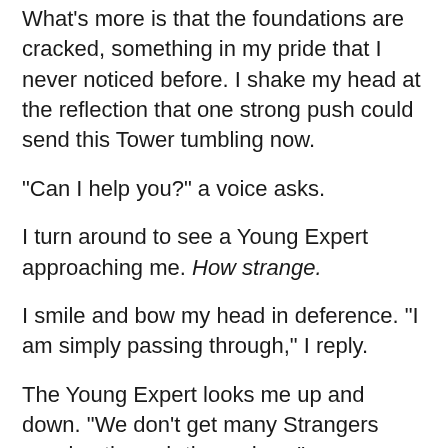What's more is that the foundations are cracked, something in my pride that I never noticed before. I shake my head at the reflection that one strong push could send this Tower tumbling now.
“Can I help you?” a voice asks.
I turn around to see a Young Expert approaching me. How strange.
I smile and bow my head in deference. “I am simply passing through,” I reply.
The Young Expert looks me up and down. “We don’t get many Strangers passing through these days.”
I nod. “Why would they?”
“Why, to learn from our great wisdom and